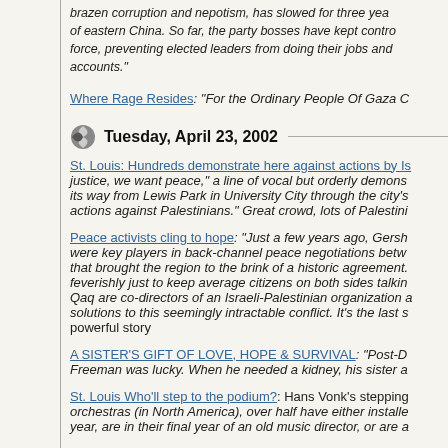brazen corruption and nepotism, has slowed for three years... of eastern China. So far, the party bosses have kept control by force, preventing elected leaders from doing their jobs and... accounts."
Where Rage Resides: "For the Ordinary People Of Gaza C...
Tuesday, April 23, 2002
St. Louis: Hundreds demonstrate here against actions by Is... justice, we want peace," a line of vocal but orderly demons... its way from Lewis Park in University City through the city's... actions against Palestinians." Great crowd, lots of Palestini...
Peace activists cling to hope: "Just a few years ago, Gersh... were key players in back-channel peace negotiations betw... that brought the region to the brink of a historic agreement.... feverishly just to keep average citizens on both sides talkin... Qaq are co-directors of an Israeli-Palestinian organization a... solutions to this seemingly intractable conflict. It's the last s... powerful story
A SISTER'S GIFT OF LOVE, HOPE & SURVIVAL: "Post-D... Freeman was lucky. When he needed a kidney, his sister a...
St. Louis Who'll step to the podium?: Hans Vonk's stepping... orchestras (in North America), over half have either installe... year, are in their final year of an old music director, or are a...